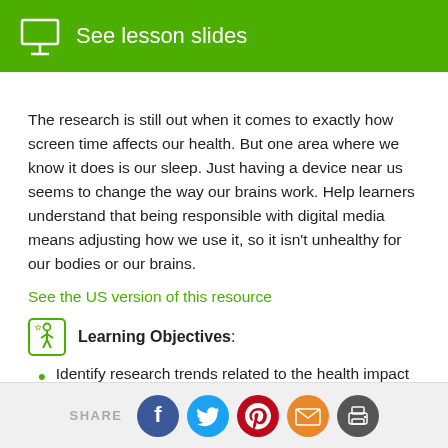See lesson slides
The research is still out when it comes to exactly how screen time affects our health. But one area where we know it does is our sleep. Just having a device near us seems to change the way our brains work. Help learners understand that being responsible with digital media means adjusting how we use it, so it isn't unhealthy for our bodies or our brains.
See the US version of this resource
Learning Objectives:
Identify research trends related to the health impact of screen time.
SHARE